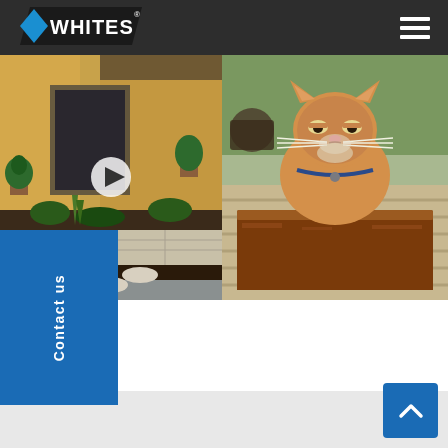Whites
[Figure (photo): Garden/driveway landscaping scene with stone retaining wall, stepping stones, mulch, and potted plants; video play button overlay]
[Figure (photo): Orange tabby cat sitting inside a rusty corten steel rectangular planter box on a wooden deck]
Contact us